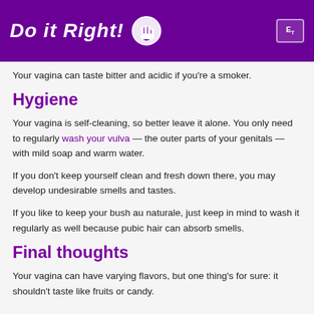Do it Right!
Your vagina can taste bitter and acidic if you're a smoker.
Hygiene
Your vagina is self-cleaning, so better leave it alone. You only need to regularly wash your vulva — the outer parts of your genitals — with mild soap and warm water.
If you don't keep yourself clean and fresh down there, you may develop undesirable smells and tastes.
If you like to keep your bush au naturale, just keep in mind to wash it regularly as well because pubic hair can absorb smells.
Final thoughts
Your vagina can have varying flavors, but one thing's for sure: it shouldn't taste like fruits or candy.